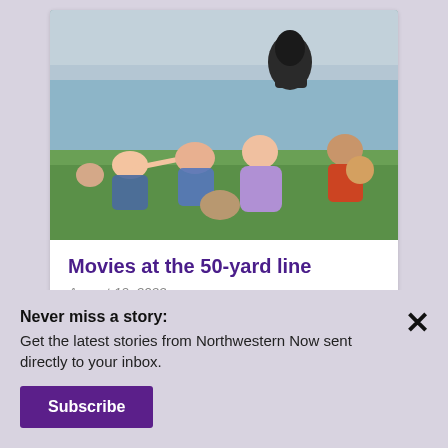[Figure (photo): Children sitting on grass at a stadium watching something, with a black panther statue visible in the background. A girl in a purple dress is prominent in the center.]
Movies at the 50-yard line
August 19, 2022
Never miss a story: Get the latest stories from Northwestern Now sent directly to your inbox.
Subscribe